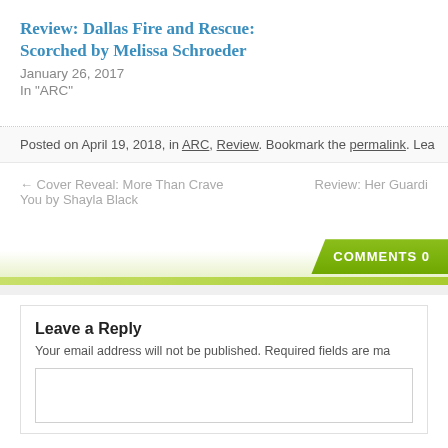Review: Dallas Fire and Rescue: Scorched by Melissa Schroeder
January 26, 2017
In "ARC"
Posted on April 19, 2018, in ARC, Review. Bookmark the permalink. Lea
← Cover Reveal: More Than Crave You by Shayla Black
Review: Her Guardi
COMMENTS 0
Leave a Reply
Your email address will not be published. Required fields are ma